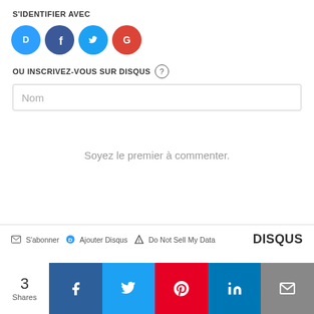S'IDENTIFIER AVEC
[Figure (other): Social login icons: Disqus (blue), Facebook (dark blue), Twitter (light blue), Google (red) as circles]
OU INSCRIVEZ-VOUS SUR DISQUS
Nom
Soyez le premier à commenter.
S'abonner  Ajouter Disqus  Do Not Sell My Data  DISQUS
3 Shares
[Figure (other): Social share buttons: Facebook, Twitter, Pinterest, LinkedIn, Email]